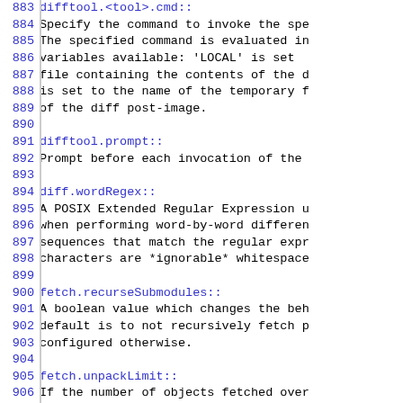883  difftool.<tool>.cmd::
884          Specify the command to invoke the spe
885          The specified command is evaluated in
886          variables available:  'LOCAL' is set
887          file containing the contents of the d
888          is set to the name of the temporary f
889          of the diff post-image.
890
891  difftool.prompt::
892          Prompt before each invocation of the
893
894  diff.wordRegex::
895          A POSIX Extended Regular Expression u
896          when performing word-by-word differen
897          sequences that match the regular expr
898          characters are *ignorable* whitespace
899
900  fetch.recurseSubmodules::
901          A boolean value which changes the beh
902          default is to not recursively fetch p
903          configured otherwise.
904
905  fetch.unpackLimit::
906          If the number of objects fetched over
907          transfer is below this
908          limit, then the objects will be unpac
909          files. However if the number of recei
910          exceeds this limit then the received
911          a pack, after adding any missing delt
912          pack from a push can make the push or